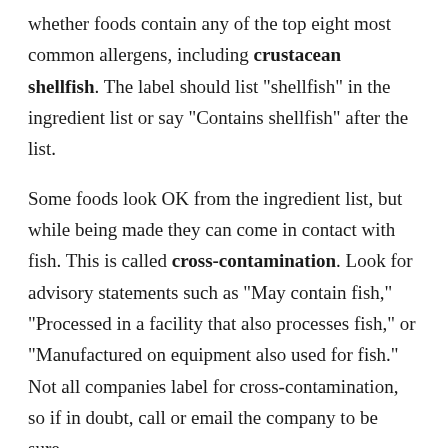whether foods contain any of the top eight most common allergens, including crustacean shellfish. The label should list "shellfish" in the ingredient list or say "Contains shellfish" after the list.
Some foods look OK from the ingredient list, but while being made they can come in contact with fish. This is called cross-contamination. Look for advisory statements such as "May contain fish," "Processed in a facility that also processes fish," or "Manufactured on equipment also used for fish." Not all companies label for cross-contamination, so if in doubt, call or email the company to be sure.
Manufacturers also do not have to list mollusk shellfish ingredients because mollusk shellfish (clams, mussels, oysters, or scallops) are not considered a major food allergen. When